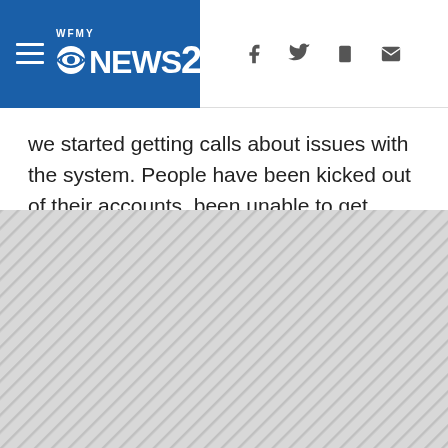WFMY NEWS 2
we started getting calls about issues with the system. People have been kicked out of their accounts, been unable to get someone on the phone, or dealt with other glitches on the website.
[Figure (other): Gray hatched/striped placeholder area indicating an advertisement or media embed that did not load]